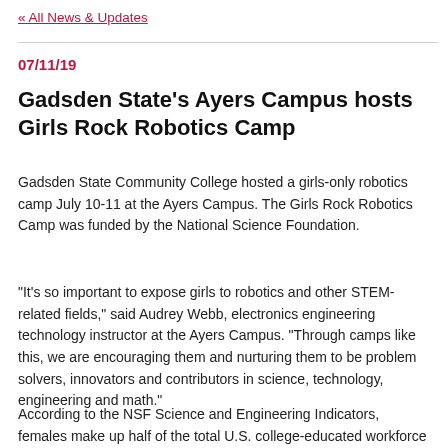« All News & Updates
07/11/19
Gadsden State's Ayers Campus hosts Girls Rock Robotics Camp
Gadsden State Community College hosted a girls-only robotics camp July 10-11 at the Ayers Campus. The Girls Rock Robotics Camp was funded by the National Science Foundation.
“It’s so important to expose girls to robotics and other STEM-related fields,” said Audrey Webb, electronics engineering technology instructor at the Ayers Campus. “Through camps like this, we are encouraging them and nurturing them to be problem solvers, innovators and contributors in science, technology, engineering and math.”
According to the NSF Science and Engineering Indicators, females make up half of the total U.S. college-educated workforce but only 28 percent of the science and engineering